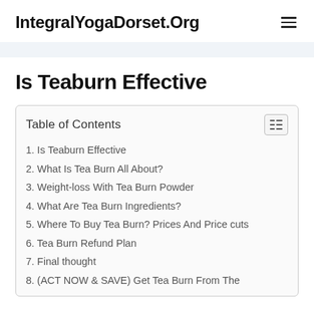IntegralYogaDorset.Org
Is Teaburn Effective
Table of Contents
1. Is Teaburn Effective
2. What Is Tea Burn All About?
3. Weight-loss With Tea Burn Powder
4. What Are Tea Burn Ingredients?
5. Where To Buy Tea Burn? Prices And Price cuts
6. Tea Burn Refund Plan
7. Final thought
8. (ACT NOW & SAVE) Get Tea Burn From The Official Site With Approximately 50% OFF &